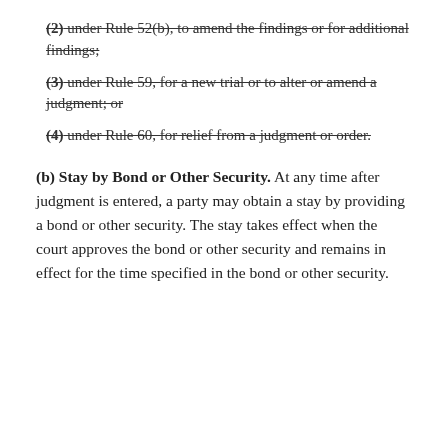(2) under Rule 52(b), to amend the findings or for additional findings;
(3) under Rule 59, for a new trial or to alter or amend a judgment; or
(4) under Rule 60, for relief from a judgment or order.
(b) Stay by Bond or Other Security. At any time after judgment is entered, a party may obtain a stay by providing a bond or other security. The stay takes effect when the court approves the bond or other security and remains in effect for the time specified in the bond or other security.